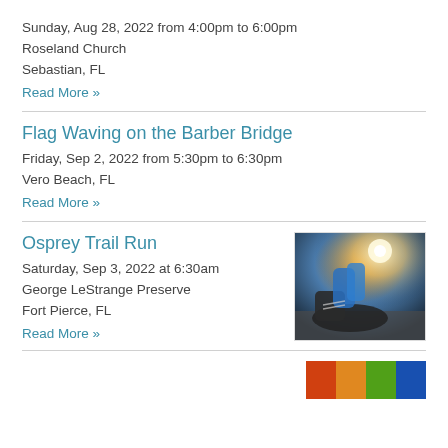Sunday, Aug 28, 2022 from 4:00pm to 6:00pm
Roseland Church
Sebastian, FL
Read More »
Flag Waving on the Barber Bridge
Friday, Sep 2, 2022 from 5:30pm to 6:30pm
Vero Beach, FL
Read More »
Osprey Trail Run
Saturday, Sep 3, 2022 at 6:30am
George LeStrange Preserve
Fort Pierce, FL
Read More »
[Figure (photo): Person tying running shoe laces, with sun flare in background]
[Figure (photo): Partial image of colorful graphic at bottom of page]